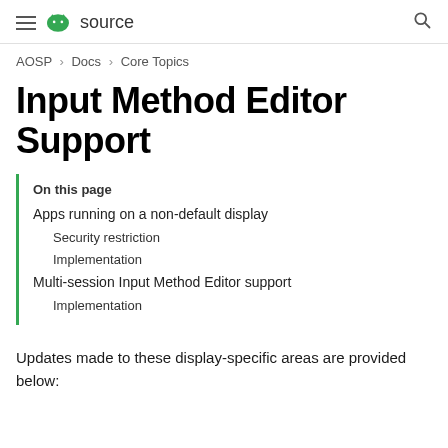≡ android source  🔍
AOSP > Docs > Core Topics
Input Method Editor Support
On this page
Apps running on a non-default display
Security restriction
Implementation
Multi-session Input Method Editor support
Implementation
Updates made to these display-specific areas are provided below: